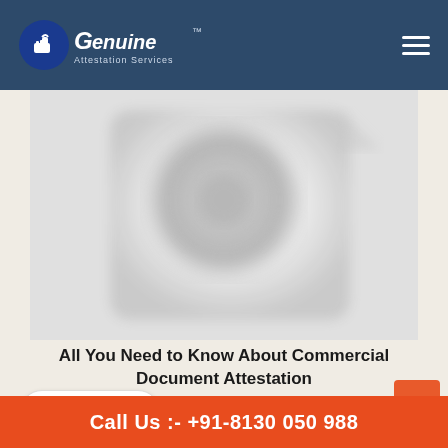Genuine Attestation Services
[Figure (photo): Blurred close-up image of a document with a stamp/seal, in grayscale with soft focus]
All You Need to Know About Commercial Document Attestation
Dec 14, 2017
Chat Now
Call Us :- +91-8130 050 988